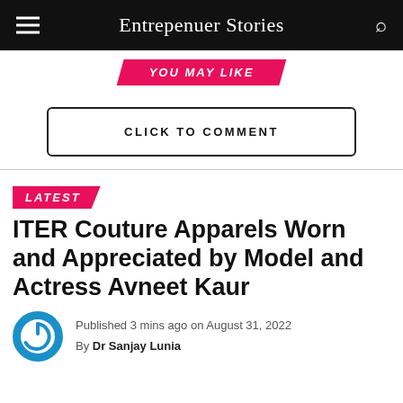Entrepenuer Stories
YOU MAY LIKE
CLICK TO COMMENT
LATEST
ITER Couture Apparels Worn and Appreciated by Model and Actress Avneet Kaur
Published 3 mins ago on August 31, 2022
By Dr Sanjay Lunia